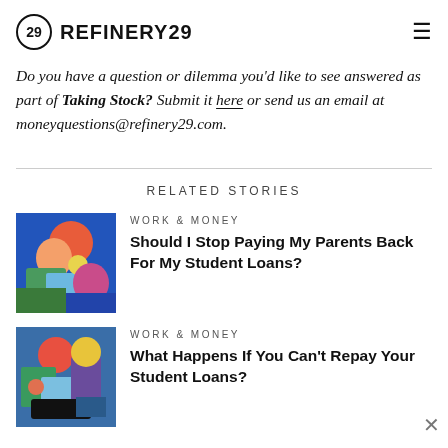REFINERY29
Do you have a question or dilemma you'd like to see answered as part of Taking Stock? Submit it here or send us an email at moneyquestions@refinery29.com.
RELATED STORIES
WORK & MONEY — Should I Stop Paying My Parents Back For My Student Loans?
WORK & MONEY — What Happens If You Can't Repay Your Student Loans?